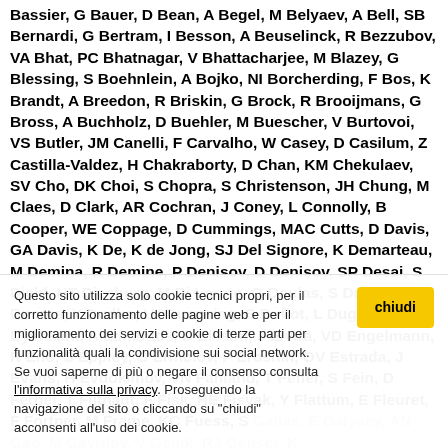Bassier, G Bauer, D Bean, A Begel, M Belyaev, A Bell, SB Bernardi, G Bertram, I Besson, A Beuselinck, R Bezzubov, VA Bhat, PC Bhatnagar, V Bhattacharjee, M Blazey, G Blessing, S Boehnlein, A Bojko, NI Borcherding, F Bos, K Brandt, A Breedon, R Briskin, G Brock, R Brooijmans, G Bross, A Buchholz, D Buehler, M Buescher, V Burtovoi, VS Butler, JM Canelli, F Carvalho, W Casey, D Casilum, Z Castilla-Valdez, H Chakraborty, D Chan, KM Chekulaev, SV Cho, DK Choi, S Chopra, S Christenson, JH Chung, M Claes, D Clark, AR Cochran, J Coney, L Connolly, B Cooper, WE Coppage, D Cummings, MAC Cutts, D Davis, GA Davis, K De, K de Jong, SJ Del Signore, K Demarteau, M Demina, R Demine, P Denisov, D Denisov, SP Desai, S Diehl, HT Diesburg, M Di Loreto, G Doulas, S Draper, P Ducros, Y Dudko, LV Duensing, S Duflot, L Dugad, SR Dyshkant, A Edmunds, D Ellison, J Elvira, VD Engelmann, R Eno, S Eppley, G Ermolov, P Eroshin, OV Estrada, J Evans, H Evdokimov, VN Fahland, T Feher, S Fein, D Ferbel, T Filthaut, F Fisk, HE Fisyak, Y Flattum, E Fleuret, F Fortner, M Frame, KC Fuess, S Gallas, E Galyaev, AN Gao, M Gavrilov, V Genik, RJ Genser, K
Questo sito utilizza solo cookie tecnici propri, per il corretto funzionamento delle pagine web e per il miglioramento dei servizi e cookie di terze parti per funzionalità quali la condivisione sui social network. Se vuoi saperne di più o negare il consenso consulta l'informativa sulla privacy. Proseguendo la navigazione del sito o cliccando su "chiudi" acconsenti all'uso dei cookie.
G Gomez, Gutierrez, G Gutierrez, P Hadley, NJ Haggerty, H Hagopian, S